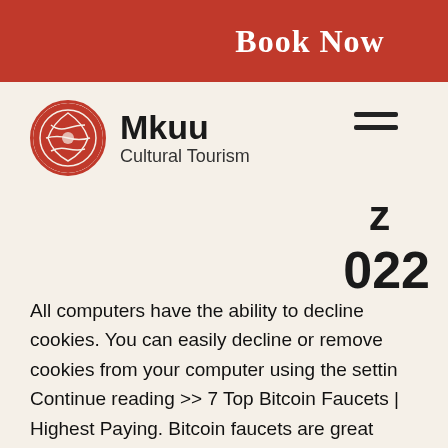[Figure (logo): Red banner with 'Book Now' text in white bold serif font]
for
[Figure (logo): Mkuu Cultural Tourism logo with red circular emblem and brand name]
z
022
All computers have the ability to decline cookies. You can easily decline or remove cookies from your computer using the settin Continue reading >> 7 Top Bitcoin Faucets | Highest Paying. Bitcoin faucets are great platforms to earn free bitcoins by simply visiting a website and completing simple tasks like captcha or surveys. Faucets offer different activities that you can work to get paid including playing games and downloading an app, bitstarz бездепозитный бонус 25 фриспинов. How Bitcoin Faucet Works, bitstarz